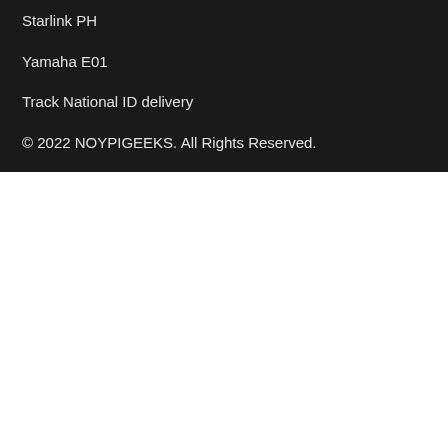Starlink PH
Yamaha E01
Track National ID delivery
© 2022 NOYPIGEEKS. All Rights Reserved.